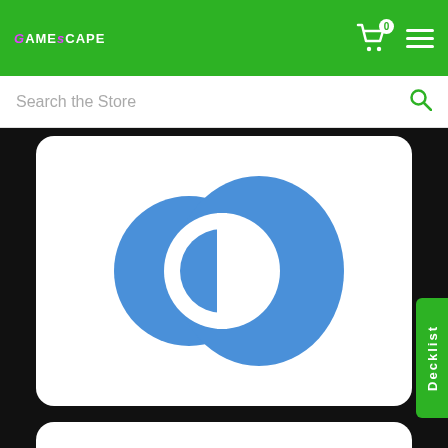GAMESCAPE - header with cart (0 items) and menu
Search the Store
[Figure (logo): Diners Club International logo - two overlapping blue circles forming a D shape on white rounded rectangle card]
[Figure (logo): Discover card logo - black bold DISCOVER text with orange circle replacing the O, on white rounded rectangle card]